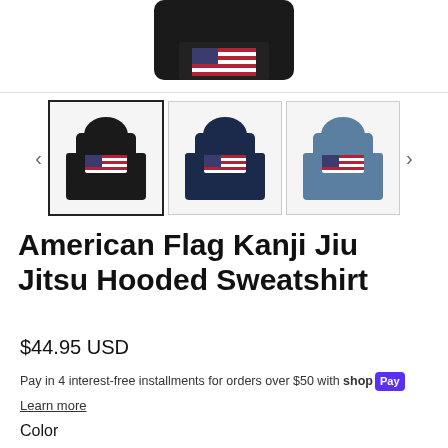[Figure (photo): Partial top view of a black hooded sweatshirt on white background]
[Figure (photo): Three thumbnail images of hooded sweatshirts: black, navy, and steel blue, each with an American flag Kanji Jiu Jitsu graphic on the chest]
American Flag Kanji Jiu Jitsu Hooded Sweatshirt
$44.95 USD
Pay in 4 interest-free installments for orders over $50 with Shop Pay
Learn more
Color